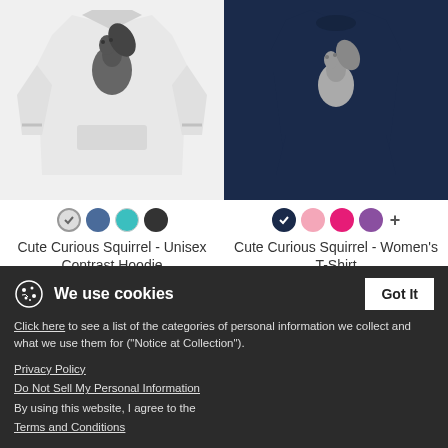[Figure (photo): White unisex contrast hoodie with squirrel graphic print]
[Figure (photo): Navy women's T-shirt with squirrel graphic print]
Cute Curious Squirrel - Unisex Contrast Hoodie
$40.49
Cute Curious Squirrel - Women's T-Shirt
$21.99
[Figure (photo): Black baseball cap with squirrel graphic]
[Figure (photo): White t-shirt with squirrel graphic]
We use cookies
Click here to see a list of the categories of personal information we collect and what we use them for ("Notice at Collection").
Privacy Policy
Do Not Sell My Personal Information
By using this website, I agree to the Terms and Conditions